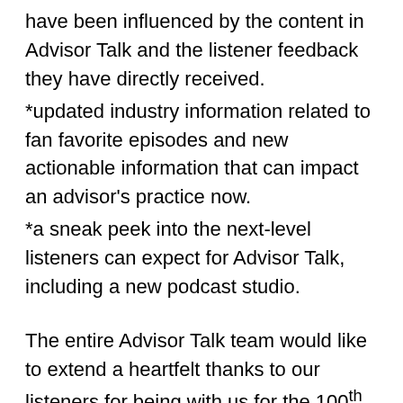have been influenced by the content in Advisor Talk and the listener feedback they have directly received.
*updated industry information related to fan favorite episodes and new actionable information that can impact an advisor's practice now.
*a sneak peek into the next-level listeners can expect for Advisor Talk, including a new podcast studio.
The entire Advisor Talk team would like to extend a heartfelt thanks to our listeners for being with us for the 100th episode celebration! We look forward to having you on the journey with us as we continue to provide you with more episodes offering the strategic insight and financial services industry perspective you have come to know and trust.